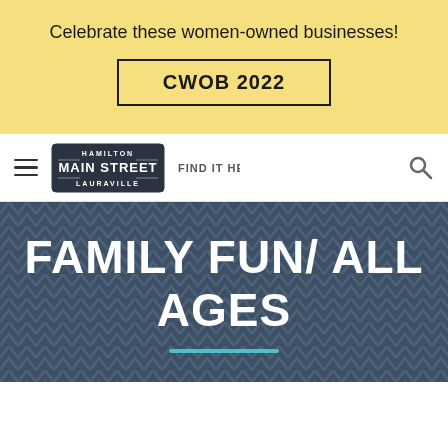Celebrate these women-owned businesses!
CWOB 2022
[Figure (logo): Hamilton Main Street Lauraville - Find It Here logo]
FAMILY FUN/ ALL AGES